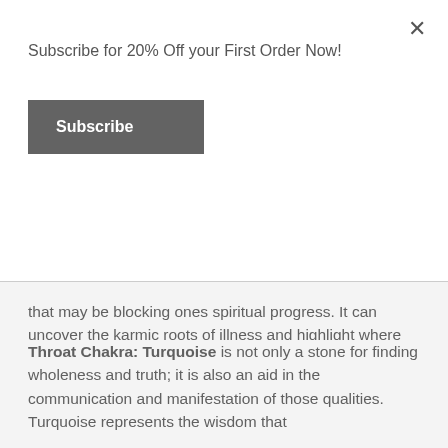Subscribe for 20% Off your First Order Now!
Subscribe
that may be blocking ones spiritual progress. It can uncover the karmic roots of illness and highlight where one might be self sabotaging one's healing.
Physically, Lapis Lazuli alleviates pain, especially migraine headaches. Overcomes depression and boosts the immune system.
Throat Chakra: Turquoise is not only a stone for finding wholeness and truth; it is also an aid in the communication and manifestation of those qualities. Turquoise represents the wisdom that